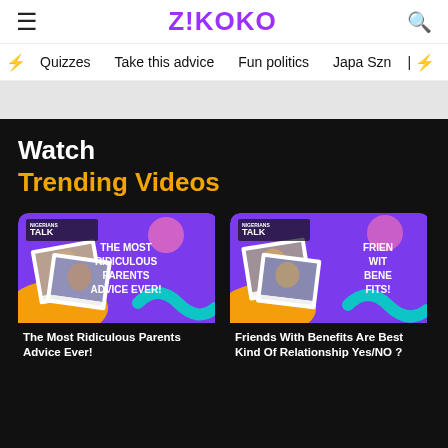Z!KOKO
Quizzes  Take this advice  Fun politics  Japa Szn
Watch
Trending Videos
[Figure (screenshot): Video thumbnail: Nigerians Talk - The Most Ridiculous Parents Advice Ever! Purple and orange background with photos.]
The Most Ridiculous Parents Advice Ever!
[Figure (screenshot): Video thumbnail: Nigerians Talk - Friends With Benefits Are Best Kind Of Relationship Yes/No? Purple and orange background with photos.]
Friends With Benefits Are Best Kind Of Relationship Yes/NO ?